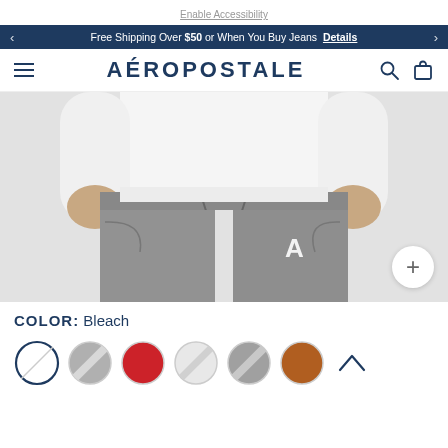Enable Accessibility
Free Shipping Over $50 or When You Buy Jeans  Details
AÉROPOSTALE
[Figure (photo): A person wearing grey sweatpants with hands in pockets, white long sleeve shirt, and Aeropostale branding on the leg. A white circular plus button is in the lower right corner.]
COLOR: Bleach
[Figure (illustration): Six color swatches: white (selected/active), grey diagonal, red, light grey, medium grey diagonal, brown/tan. Followed by an up arrow chevron.]